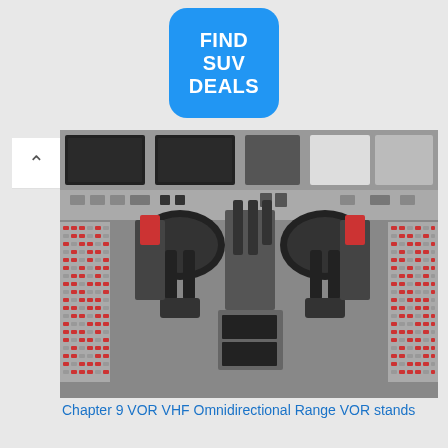[Figure (infographic): Blue rounded square advertisement button with white bold text reading FIND SUV DEALS]
[Figure (photo): Aircraft cockpit instrument panel showing flight controls, throttle levers, yokes/control columns, and side panels with switches and circuit breakers]
Chapter 9 VOR VHF Omnidirectional Range VOR stands
[Figure (screenshot): Partial preview of a presentation slide titled VOR and GPS Navigation with a light blue background and navigation chart graphic at the bottom]